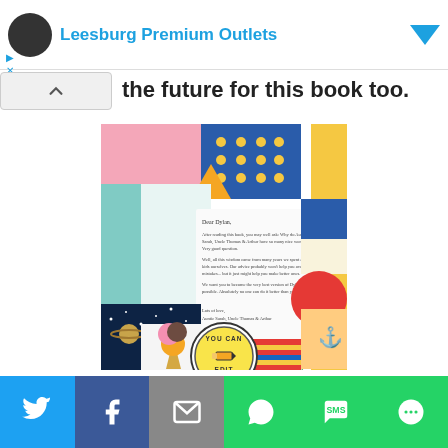Leesburg Premium Outlets
the future for this book too.
[Figure (photo): Book cover image showing a collage of colorful illustrated patterns and a letter addressed to Dylan. A circular 'YOU CAN EDIT' stamp badge overlays the bottom center. The letter text reads: Dear Dylan, After reading this book, you may well ask: Why do Auntie Sarah, Uncle Thomas & Arthur have so many nice words? Very good question. Well, all this wisdom came from many years we spend as kids ourselves. Our advice probably won't help you avoid mistakes... but it just might help you make better ones. We want you to become the very best version of Dylan possible. Absolutely no one can do it better than you! Lots of love, Auntie Sarah, Uncle Thomas & Arthur]
Social share bar: Twitter, Facebook, Email, WhatsApp, SMS, More